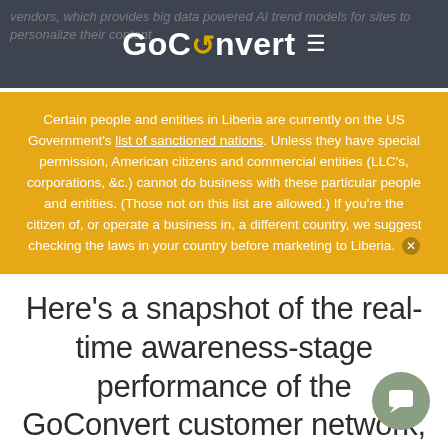GoConvert
Certain people and entities in Liberia are currently on the US Government's list of sanctioned nations. Unless they have special permission, American citizens and commercial entities (LLC's, corporations, &c.) cannot do business with these particular people and entities. (Those not on this list are allowed.) If you're the citizen of, or operate a business in, a different country, we suggest checking the laws in your country before marketing to Liberia.
Here's a snapshot of the real-time awareness-stage performance of the GoConvert customer network, including Liberia marketing campaigns.